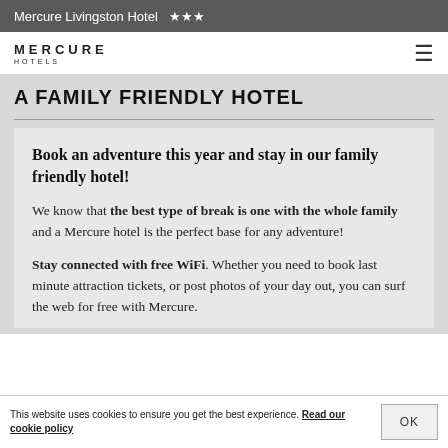Mercure Livingston Hotel ★★★
[Figure (logo): Mercure Hotels logo with hamburger menu icon]
A FAMILY FRIENDLY HOTEL
Book an adventure this year and stay in our family friendly hotel!
We know that the best type of break is one with the whole family and a Mercure hotel is the perfect base for any adventure!
Stay connected with free WiFi. Whether you need to book last minute attraction tickets, or post photos of your day out, you can surf the web for free with Mercure.
This website uses cookies to ensure you get the best experience. Read our cookie policy